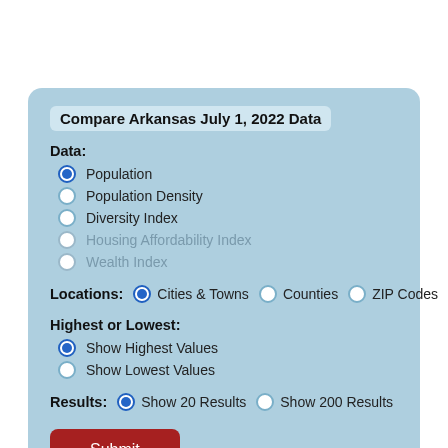Compare Arkansas July 1, 2022 Data
Data:
Population (selected)
Population Density
Diversity Index
Housing Affordability Index
Wealth Index
Locations: Cities & Towns | Counties | ZIP Codes
Highest or Lowest:
Show Highest Values (selected)
Show Lowest Values
Results: Show 20 Results (selected) | Show 200 Results
Submit